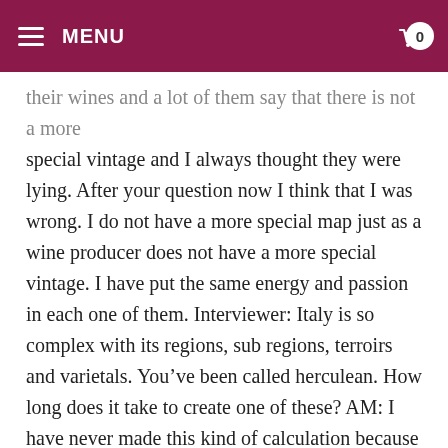MENU | 0
their wines and a lot of them say that there is not a more special vintage and I always thought they were lying. After your question now I think that I was wrong. I do not have a more special map just as a wine producer does not have a more special vintage. I have put the same energy and passion in each one of them. Interviewer: Italy is so complex with its regions, sub regions, terroirs and varietals. You’ve been called herculean. How long does it take to create one of these? AM: I have never made this kind of calculation because as you said before, I am a wine taster and a wine writer too so I can’t work all year long on the maps. Maps and tastings overlay many, many times in a year but this is the secret to produce a good map every time. Creating a map is not only topography and technology, you must walk in the vineyards, taste the wines, talk to producers from the history to the